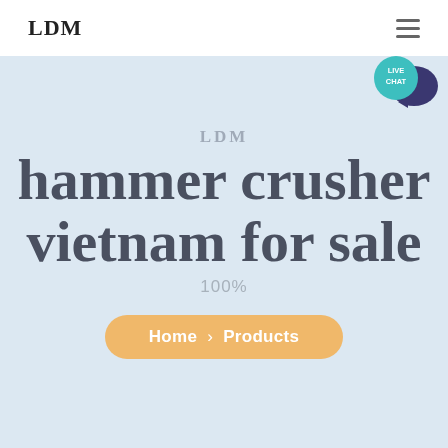LDM
[Figure (illustration): Live Chat speech bubble icon with teal circle and dark navy chat bubble overlay, positioned top right corner]
LDM
hammer crusher vietnam for sale
100%
Home > Products